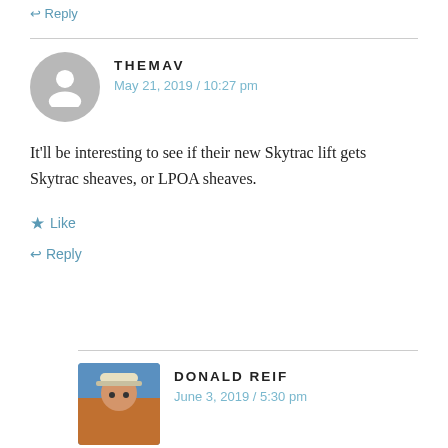↩ Reply
THEMAV
May 21, 2019 / 10:27 pm
It'll be interesting to see if their new Skytrac lift gets Skytrac sheaves, or LPOA sheaves.
★ Like
↩ Reply
DONALD REIF
June 3, 2019 / 5:30 pm
Probably LPOA since Pomas are the workhorses of the mountain (outside of Peachtree and High Lift).